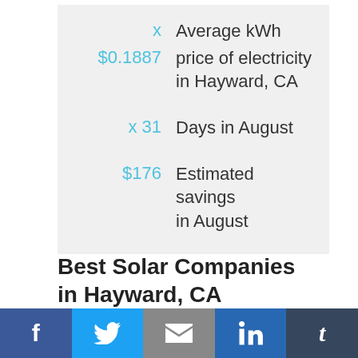x  Average kWh
$0.1887  price of electricity in Hayward, CA
x 31  Days in August
$176  Estimated savings in August
Best Solar Companies in Hayward, CA
[Figure (infographic): Social media sharing bar with Facebook, Twitter, Email, LinkedIn, and Tumblr buttons]